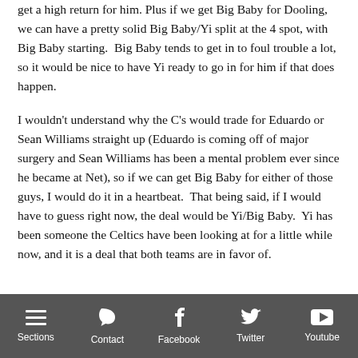get a high return for him. Plus if we get Big Baby for Dooling, we can have a pretty solid Big Baby/Yi split at the 4 spot, with Big Baby starting.  Big Baby tends to get in to foul trouble a lot, so it would be nice to have Yi ready to go in for him if that does happen.
I wouldn't understand why the C's would trade for Eduardo or Sean Williams straight up (Eduardo is coming off of major surgery and Sean Williams has been a mental problem ever since he became at Net), so if we can get Big Baby for either of those guys, I would do it in a heartbeat.  That being said, if I would have to guess right now, the deal would be Yi/Big Baby.  Yi has been someone the Celtics have been looking at for a little while now, and it is a deal that both teams are in favor of.
Sections  Contact  Facebook  Twitter  Youtube